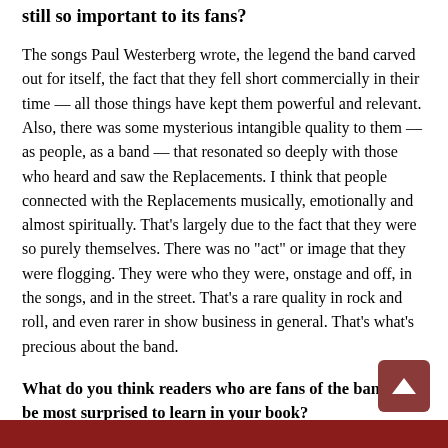still so important to its fans?
The songs Paul Westerberg wrote, the legend the band carved out for itself, the fact that they fell short commercially in their time — all those things have kept them powerful and relevant. Also, there was some mysterious intangible quality to them — as people, as a band — that resonated so deeply with those who heard and saw the Replacements. I think that people connected with the Replacements musically, emotionally and almost spiritually. That's largely due to the fact that they were so purely themselves. There was no "act" or image that they were flogging. They were who they were, onstage and off, in the songs, and in the street. That's a rare quality in rock and roll, and even rarer in show business in general. That's what's precious about the band.
What do you think readers who are fans of the band will be most surprised to learn in your book?
Hopefully, everything. I tried to write the history of the band almost from scratch. To probe more deeply into their pasts and personal lives than anyone had ever done, in order to understand what each